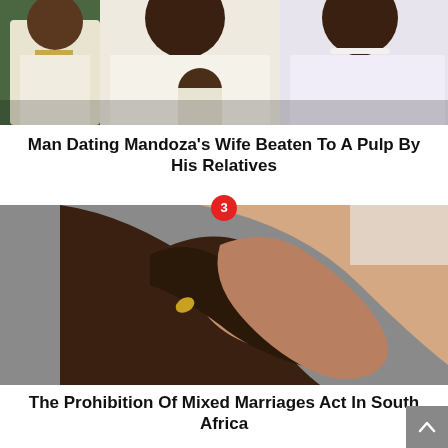[Figure (photo): Wedding photo showing a man in white suit, woman in white dress holding a baby, and a child in white suit with gold tie]
Man Dating Mandoza’s Wife Beaten To A Pulp By His Relatives
[Figure (photo): Close-up of two hands held together, one with darker skin and one with lighter skin, one wearing a ring]
The Prohibition Of Mixed Marriages Act In South Africa